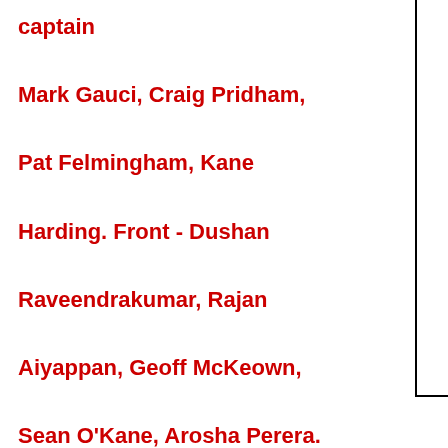captain
Mark Gauci, Craig Pridham, Pat Felmingham, Kane Harding. Front - Dushan Raveendrakumar, Rajan Aiyappan, Geoff McKeown, Sean O'Kane, Arosha Perera.
Moonee Valley's Firsts and Seconds won their premierships in emphatic fashion, finishing off Werribee Centrals in both games on Sunday, March 21.